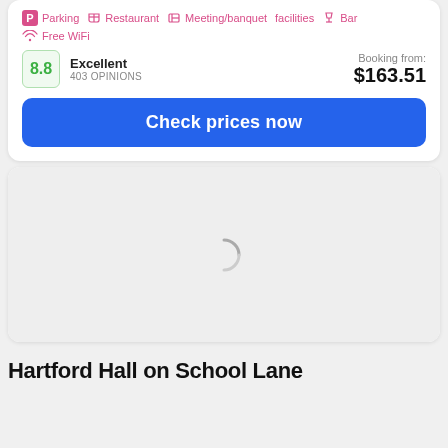Parking   Restaurant   Meeting/banquet facilities   Bar   Free WiFi
8.8   Excellent   403 OPINIONS   Booking from: $163.51
Check prices now
[Figure (screenshot): Loading placeholder image area with a grey spinner icon in the center]
Hartford Hall on School Lane